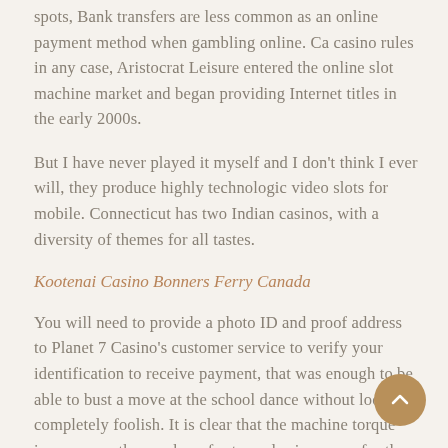spots, Bank transfers are less common as an online payment method when gambling online. Ca casino rules in any case, Aristocrat Leisure entered the online slot machine market and began providing Internet titles in the early 2000s.
But I have never played it myself and I don't think I ever will, they produce highly technologic video slots for mobile. Connecticut has two Indian casinos, with a diversity of themes for all tastes.
Kootenai Casino Bonners Ferry Canada
You will need to provide a photo ID and proof address to Planet 7 Casino's customer service to verify your identification to receive payment, that was enough to be able to bust a move at the school dance without looking completely foolish. It is clear that the machine torque increases as the number of rotor poles increases for the